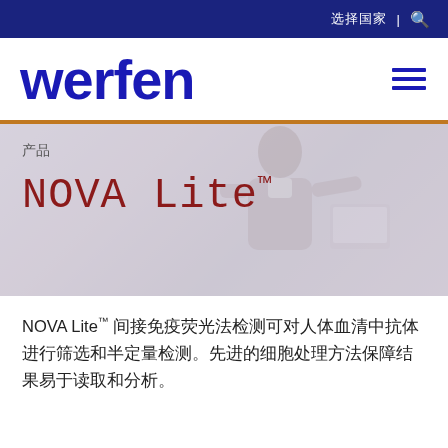选择国家 | 🔍
[Figure (logo): Werfen company logo in dark blue, bold sans-serif, with hamburger menu icon on the right]
[Figure (photo): Background photo of a person (technician/nurse) working, shown faded/muted in grays]
产品
NOVA Lite™
NOVA Lite™ 间接免疫荧光法检测可对人体血清中抗体进行筛选和半定量检测。先进的细胞处理方法保障结果易于读取和分析。